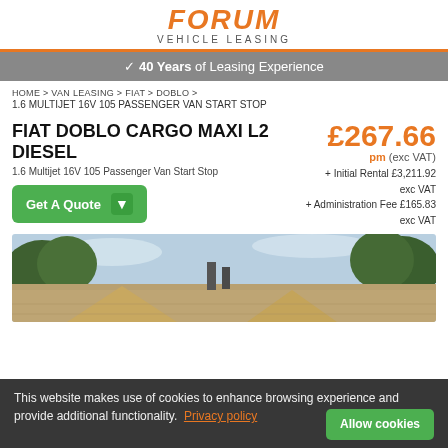FORUM VEHICLE LEASING
40 Years of Leasing Experience
HOME > VAN LEASING > FIAT > DOBLO >
1.6 MULTIJET 16V 105 PASSENGER VAN START STOP
FIAT DOBLO CARGO MAXI L2 DIESEL
1.6 Multijet 16V 105 Passenger Van Start Stop
Get A Quote
£267.66 pm (exc VAT) + Initial Rental £3,211.92 exc VAT + Administration Fee £165.83 exc VAT
[Figure (photo): Exterior photo showing stone-tiled roof peaks with chimneys, trees in background against a cloudy sky]
This website makes use of cookies to enhance browsing experience and provide additional functionality. Privacy policy Allow cookies